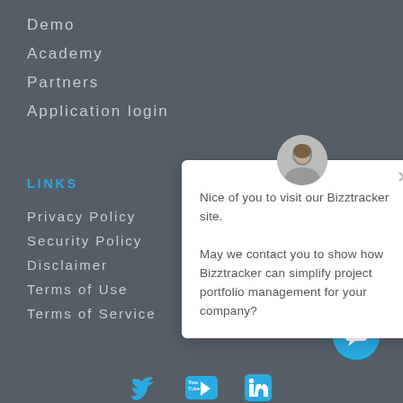Demo
Academy
Partners
Application login
LINKS
Privacy Policy
Security Policy
Disclaimer
Terms of Use
Terms of Service
[Figure (screenshot): Chat popup card with avatar photo of a man, close button (x), and message: 'Nice of you to visit our Bizztracker site. May we contact you to show how Bizztracker can simplify project portfolio management for your company?']
[Figure (infographic): Blue circular chat button icon at bottom right]
[Figure (infographic): Social media icons row at bottom: Twitter bird, YouTube, LinkedIn]